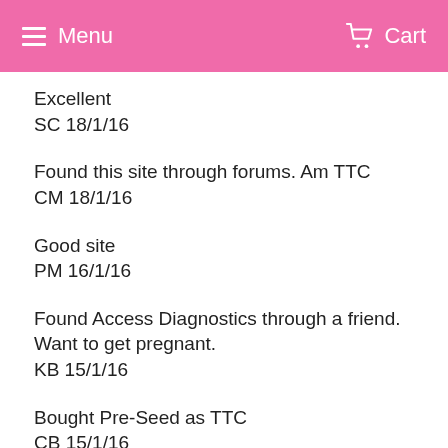Menu  Cart
Excellent
SC 18/1/16
Found this site through forums. Am TTC
CM 18/1/16
Good site
PM 16/1/16
Found Access Diagnostics through a friend. Want to get pregnant.
KB 15/1/16
Bought Pre-Seed as TTC
CB 15/1/16
Thank you for your speedy response, it is greatly appreciated.